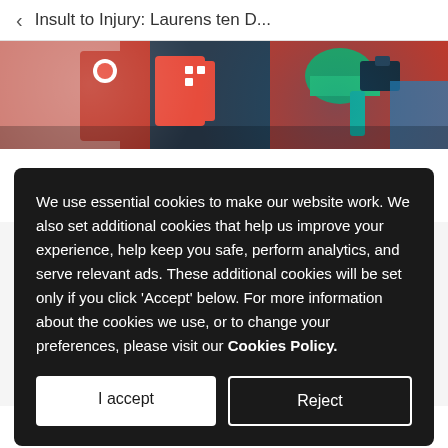< Insult to Injury: Laurens ten D...
[Figure (photo): Partial photo of cyclists/race crowd with colorful jerseys and gear visible]
After Stage 16 I got to go to bed early and sleep in a
We use essential cookies to make our website work. We also set additional cookies that help us improve your experience, help keep you safe, perform analytics, and serve relevant ads. These additional cookies will be set only if you click 'Accept' below. For more information about the cookies we use, or to change your preferences, please visit our Cookies Policy.
I accept
Reject
perfect shape for the next morning.